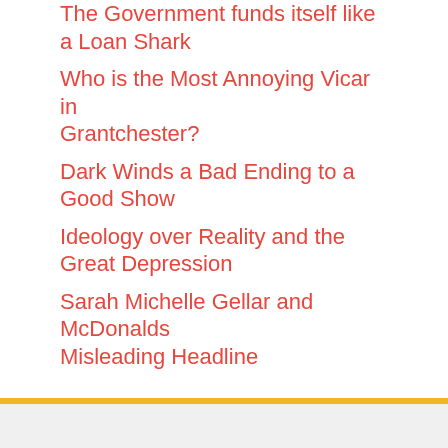The Government funds itself like a Loan Shark
Who is the Most Annoying Vicar in Grantchester?
Dark Winds a Bad Ending to a Good Show
Ideology over Reality and the Great Depression
Sarah Michelle Gellar and McDonalds Misleading Headline
Login
Log in